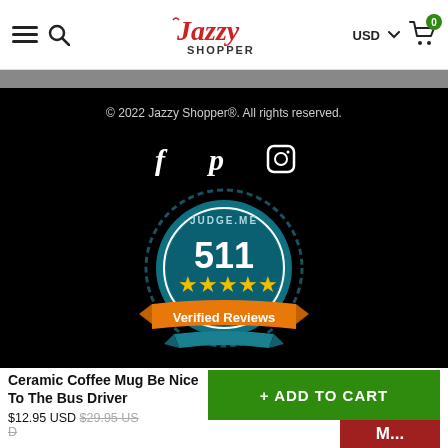Jazzy Shopper — USD — Cart (0)
[Figure (screenshot): Black footer section with copyright text, social media icons (Facebook, Pinterest, Instagram), and a Judge.me badge showing 511 Verified Reviews with 5 stars]
© 2022 Jazzy Shopper®. All rights reserved.
Ceramic Coffee Mug Be Nice To The Bus Driver
$12.95 USD $29.95 USD
+ ADD TO CART
M...